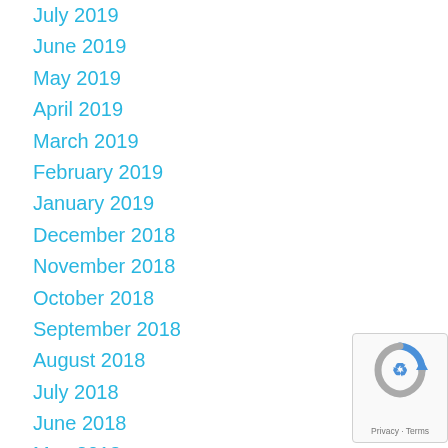July 2019
June 2019
May 2019
April 2019
March 2019
February 2019
January 2019
December 2018
November 2018
October 2018
September 2018
August 2018
July 2018
June 2018
May 2018
April 2018
March 2018
February 2018
January 2018
[Figure (logo): Google reCAPTCHA badge with recycling arrow logo and Privacy/Terms text]